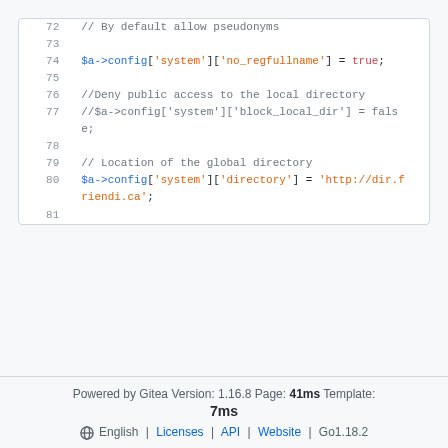[Figure (screenshot): Code block showing PHP configuration lines 72-81 with syntax highlighting. Line 72: comment '// By default allow pseudonyms'. Line 73: empty. Line 74: $a->config['system']['no_regfullname'] = true;. Line 75: empty. Line 76: comment '//Deny public access to the local directory'. Line 77: commented code '//$a->config[\'system\'][\'block_local_dir\'] = false;'. Line 78: empty. Line 79: comment '// Location of the global directory'. Line 80: $a->config['system']['directory'] = 'http://dir.friendi.ca';. Line 81: empty.]
Powered by Gitea Version: 1.16.8 Page: 41ms Template: 7ms | English | Licenses | API | Website | Go1.18.2